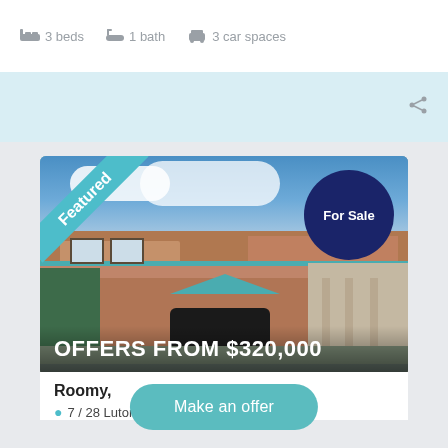3 beds   1 bath   3 car spaces
[Figure (photo): Exterior photo of a two-storey brick townhouse with tiled roof, garage, and car parked under carport. Blue sky with white clouds in background. Featured ribbon in top-left corner, 'For Sale' dark blue circle in top-right, price overlay 'OFFERS FROM $320,000' at bottom.]
Roomy,
7 / 28 Luton Close, Ballajura
Make an offer